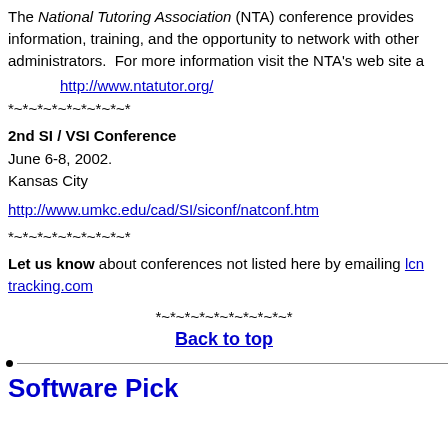The National Tutoring Association (NTA) conference provides information, training, and the opportunity to network with other administrators. For more information visit the NTA's web site a
http://www.ntatutor.org/
*~*~*~*~*~*~*~*~*
2nd SI / VSI Conference
June 6-8, 2002.
Kansas City
http://www.umkc.edu/cad/SI/siconf/natconf.htm
*~*~*~*~*~*~*~*~*
Let us know about conferences not listed here by emailing lcn tracking.com
*~*~*~*~*~*~*~*~*~*
Back to top
Software Pick